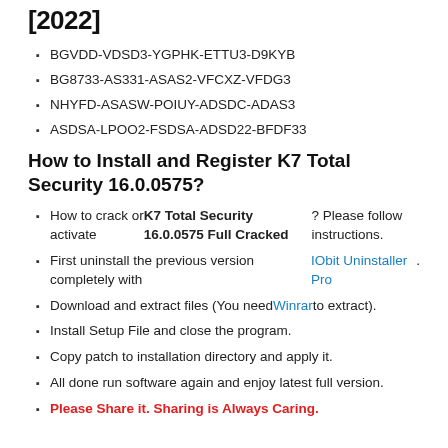[2022]
BGVDD-VDSD3-YGPHK-ETTU3-D9KYB
BG8733-AS331-ASAS2-VFCXZ-VFDG3
NHYFD-ASASW-POIUY-ADSDC-ADAS3
ASDSA-LPOO2-FSDSA-ADSD22-BFDF33
How to Install and Register K7 Total Security 16.0.0575?
How to crack or activate K7 Total Security 16.0.0575 Full Cracked? Please follow instructions.
First uninstall the previous version completely with IObit Uninstaller Pro.
Download and extract files (You need Winrar to extract).
Install Setup File and close the program.
Copy patch to installation directory and apply it.
All done run software again and enjoy latest full version.
Please Share it. Sharing is Always Caring.